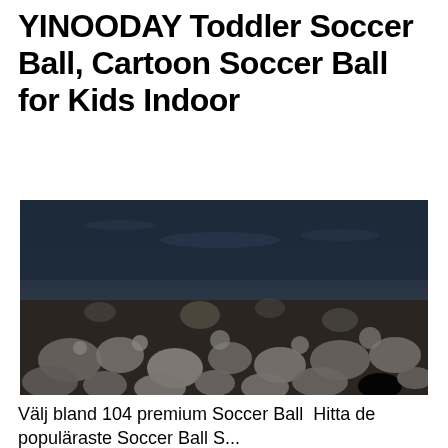YINOODAY Toddler Soccer Ball, Cartoon Soccer Ball for Kids Indoor
[Figure (photo): Photo of rocky riverbed or lakeshore with smooth pebbles and stones under dark water, shallow clear water visible at top transitioning to exposed wet rocks at bottom.]
Välj bland 104 premium Soccer Ball  Hitta de populäraste Soccer Ball S...